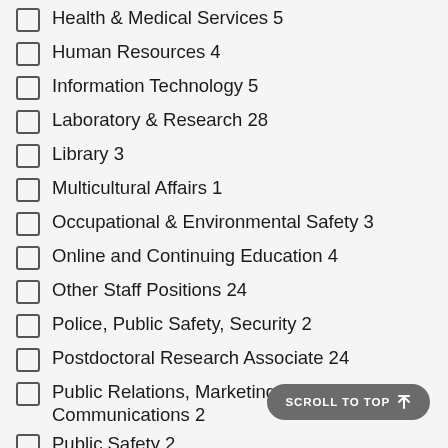Health & Medical Services 5
Human Resources 4
Information Technology 5
Laboratory & Research 28
Library 3
Multicultural Affairs 1
Occupational & Environmental Safety 3
Online and Continuing Education 4
Other Staff Positions 24
Police, Public Safety, Security 2
Postdoctoral Research Associate 24
Public Relations, Marketing, Communications 2
Public Safety 2
Registrar 3
Research 35
Residence Life & Housing 1
Skilled Labor 4
Sponsored Programs, Grants and Contracts